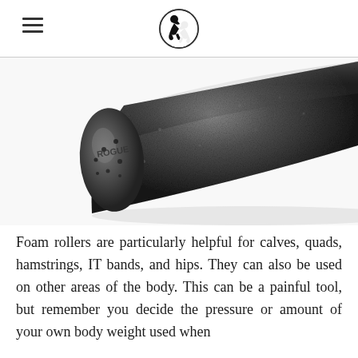[Figure (photo): A black foam roller (Rogue brand) photographed at an angle on a white background, showing the textured cylindrical surface and rounded end cap with the ROGUE logo.]
Foam rollers are particularly helpful for calves, quads, hamstrings, IT bands, and hips. They can also be used on other areas of the body. This can be a painful tool, but remember you decide the pressure or amount of your own body weight used when rolling.